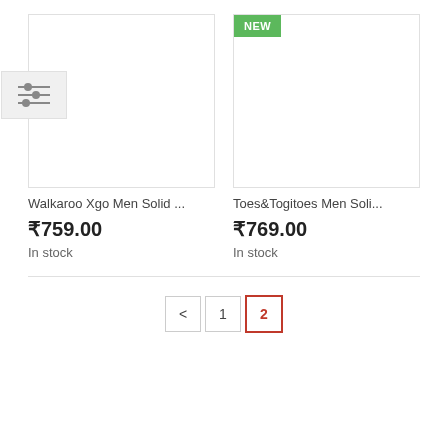[Figure (screenshot): Product image placeholder box for Walkaroo Xgo Men Solid, with filter/settings widget overlaid on left edge]
[Figure (screenshot): Product image placeholder box for Toes&Togitoes Men Soli... with NEW badge in top-left corner]
Walkaroo Xgo Men Solid ...
Toes&Togitoes Men Soli...
₹759.00
₹769.00
In stock
In stock
< 1 2